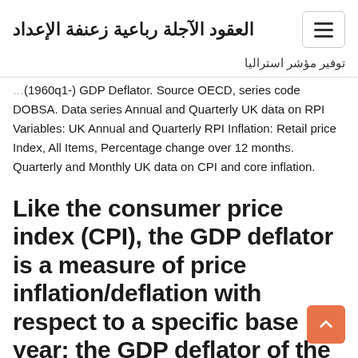العقود الآجلة رباعية زعنفة الإعداد
توفير مؤشر استراليا
(1960q1-) GDP Deflator. Source OECD, series code DOBSA. Data series Annual and Quarterly UK data on RPI Variables: UK Annual and Quarterly RPI Inflation: Retail price Index, All Items, Percentage change over 12 months. Quarterly and Monthly UK data on CPI and core inflation.
Like the consumer price index (CPI), the GDP deflator is a measure of price inflation/deflation with respect to a specific base year; the GDP deflator of the base year